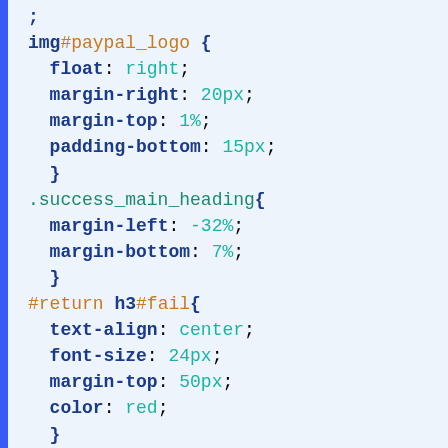img#paypal_logo {
float: right;
margin-right: 20px;
margin-top: 1%;
padding-bottom: 15px;
}
.success_main_heading{
margin-left: -32%;
margin-bottom: 7%;

}
#return h3#fail{
text-align: center;
font-size: 24px;
margin-top: 50px;
color: red;
}
.red{